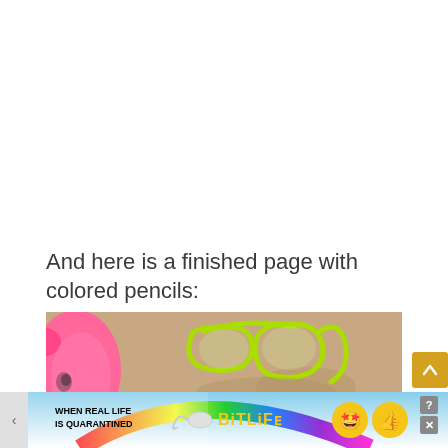And here is a finished page with colored pencils:
[Figure (photo): Photo of beach scene with pink flamingo float and yellow-green goggles/snorkel on sandy beach background]
[Figure (screenshot): Advertisement banner for BitLife mobile game showing rainbow background, text 'WHEN REAL LIFE IS QUARANTINED' with BitLife logo and emoji characters, with close (X) and help (?) buttons]